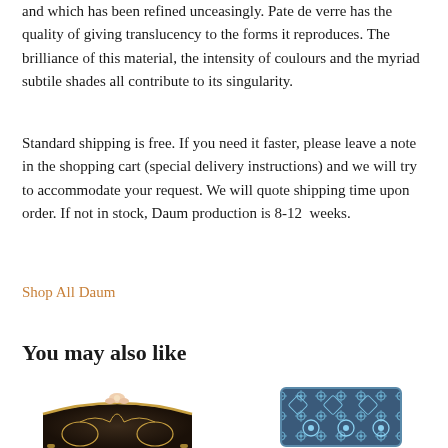and which has been refined unceasingly. Pate de verre has the quality of giving translucency to the forms it reproduces. The brilliance of this material, the intensity of coulours and the myriad subtile shades all contribute to its singularity.
Standard shipping is free. If you need it faster, please leave a note in the shopping cart (special delivery instructions) and we will try to accommodate your request. We will quote shipping time upon order. If not in stock, Daum production is 8-12 weeks.
Shop All Daum
You may also like
[Figure (photo): Decorative ornate dark clutch bag with gold embellishments and a flower on top, with chain strap]
[Figure (photo): Blue beaded/embroidered rectangular clutch bag with floral and geometric pattern]